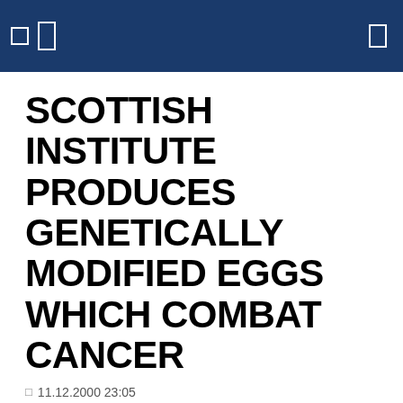SCOTTISH INSTITUTE PRODUCES GENETICALLY MODIFIED EGGS WHICH COMBAT CANCER
11.12.2000 23:05
The Scottish Roslin Institute has again performed a miracle of modern genetic engineering. After cloning a sheep, now it has produced a genetically modified hen, which can